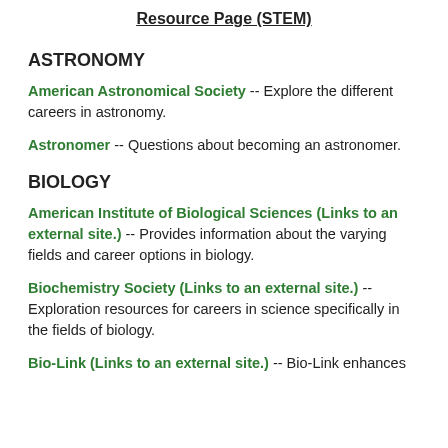Resource Page (STEM)
ASTRONOMY
American Astronomical Society  -- Explore the different careers in astronomy.
Astronomer  -- Questions about becoming an astronomer.
BIOLOGY
American Institute of Biological Sciences (Links to an external site.) -- Provides information about the varying fields and career options in biology.
Biochemistry Society (Links to an external site.) -- Exploration resources for careers in science specifically in the fields of biology.
Bio-Link (Links to an external site.) -- Bio-Link enhances